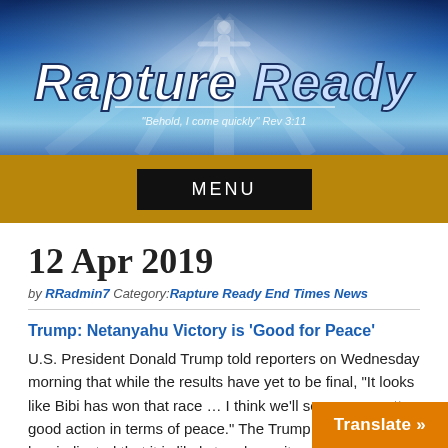[Figure (illustration): Rapture Ready website banner with blue sky, rays of light, silhouette of person with arms raised, and large stylized text 'Rapture Ready' with subtitle 'Behold, I come quickly - Rev 3:11']
MENU
12 Apr 2019
by RRadmin7 Category: Rapture Ready End Times News
Trump: Netanyahu Victory is 'Good for Peace'
U.S. President Donald Trump told reporters on Wednesday morning that while the results have yet to be final, "It looks like Bibi has won that race … I think we'll see some pretty good action in terms of peace." The Trump administration has indicated that it is likely to release its peace plan following the completion of Isr...